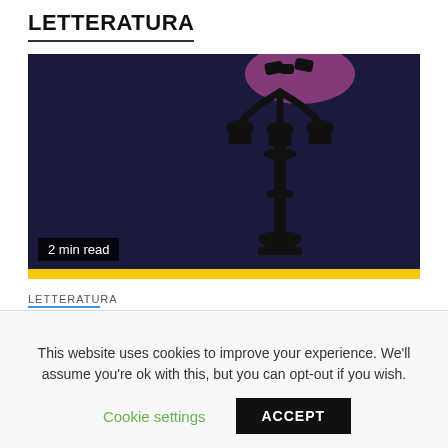LETTERATURA
[Figure (photo): Dark night scene with a black street lamp silhouette against a deep purple/navy background, with pink/purple glow at top. A yellow bar runs at the bottom of the image. A badge reads '2 min read'.]
LETTERATURA
Amoreamaro – Piero Meli
6 giorni fa   Marco Giorgini
This website uses cookies to improve your experience. We'll assume you're ok with this, but you can opt-out if you wish.
Cookie settings   ACCEPT